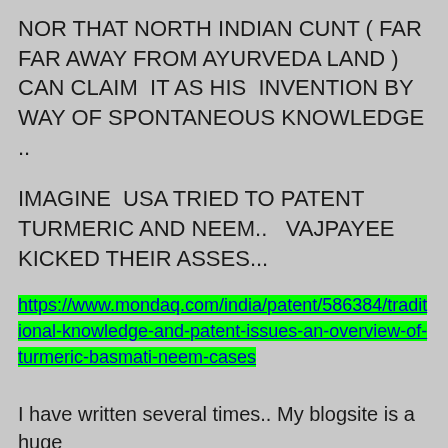NOR THAT NORTH INDIAN CUNT ( FAR FAR AWAY FROM AYURVEDA LAND ) CAN CLAIM  IT AS HIS  INVENTION BY WAY OF SPONTANEOUS KNOWLEDGE ..
IMAGINE  USA TRIED TO PATENT TURMERIC AND NEEM..   VAJPAYEE KICKED THEIR ASSES...
https://www.mondaq.com/india/patent/586384/traditional-knowledge-and-patent-issues-an-overview-of-turmeric-basmati-neem-cases
I have written several times.. My blogsite is a huge